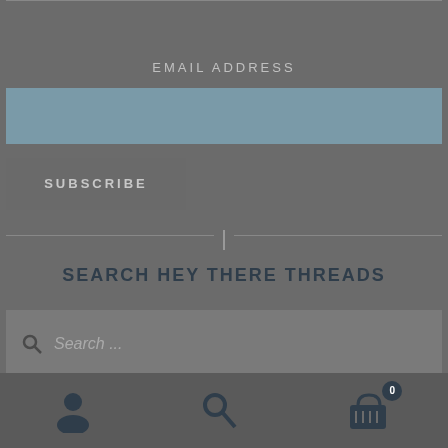EMAIL ADDRESS
[Figure (screenshot): Email address input field (teal/blue-gray colored input box)]
SUBSCRIBE
[Figure (other): Horizontal divider line with small vertical bar icon in the center]
SEARCH HEY THERE THREADS
[Figure (screenshot): Search input box with magnifying glass icon and placeholder text 'Search ...']
Navigation bar with user icon, search icon, and shopping cart icon with badge showing 0